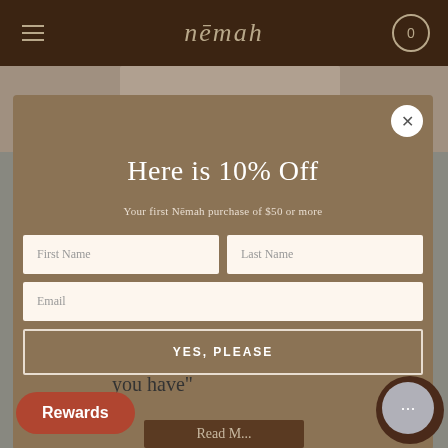nēmah
[Figure (screenshot): Partial product image visible behind modal popup]
Here is 10% Off
Your first Nēmah purchase of $50 or more
First Name
Last Name
Email
YES, PLEASE
you have"
Rewards